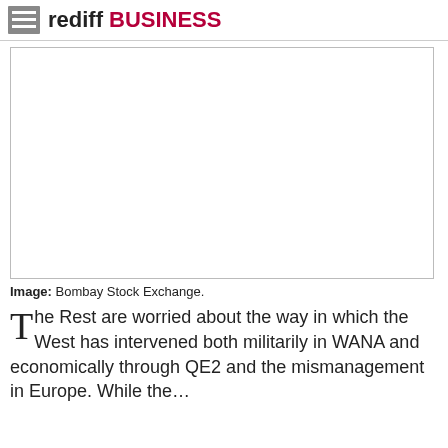rediff BUSINESS
[Figure (photo): Blank/white image placeholder representing Bombay Stock Exchange photo]
Image: Bombay Stock Exchange.
The Rest are worried about the way in which the West has intervened both militarily in WANA and economically through QE2 and the mismanagement in Europe. While the...